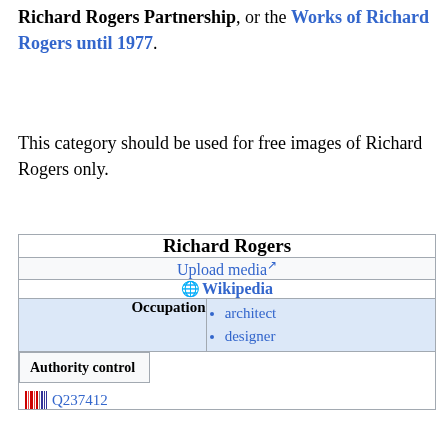Richard Rogers Partnership, or the Works of Richard Rogers until 1977.
This category should be used for free images of Richard Rogers only.
| Richard Rogers |
| --- |
| Upload media ↗ |
| 🌐 Wikipedia |
| Occupation | • architect
• designer |
| Authority control
Q237412 |